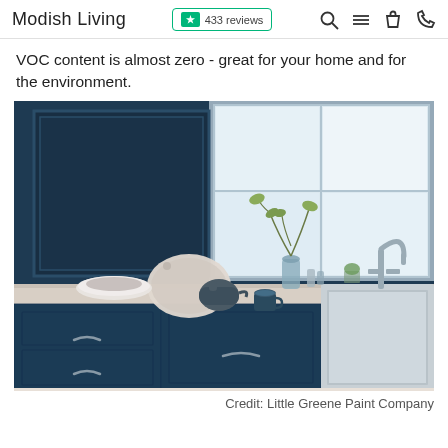Modish Living | ★ 433 reviews
VOC content is almost zero - great for your home and for the environment.
[Figure (photo): Kitchen with dark navy blue painted walls and cabinets, white countertop with a bowl and teapot, farmhouse sink with bridge faucet, large window with natural light, and a glass vase with green foliage branches. Credit: Little Greene Paint Company]
Credit: Little Greene Paint Company